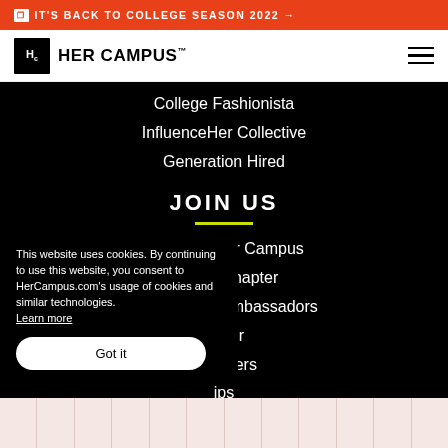IT'S BACK TO COLLEGE SEASON 2022 →
[Figure (logo): Her Campus logo with Hc icon and wordmark]
College Fashionista
InfluenceHer Collective
Generation Hired
JOIN US
Write For Her Campus
Start a Chapter
High School Ambassadors
...encer
...adsetters
...ips
This website uses cookies. By continuing to use this website, you consent to HerCampus.com's usage of cookies and similar technologies. Learn more
Got it